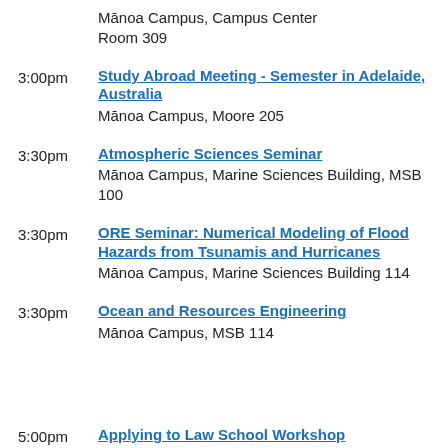Mānoa Campus, Campus Center Room 309
3:00pm — Study Abroad Meeting - Semester in Adelaide, Australia — Mānoa Campus, Moore 205
3:30pm — Atmospheric Sciences Seminar — Mānoa Campus, Marine Sciences Building, MSB 100
3:30pm — ORE Seminar: Numerical Modeling of Flood Hazards from Tsunamis and Hurricanes — Mānoa Campus, Marine Sciences Building 114
3:30pm — Ocean and Resources Engineering — Mānoa Campus, MSB 114
5:00pm — Applying to Law School Workshop